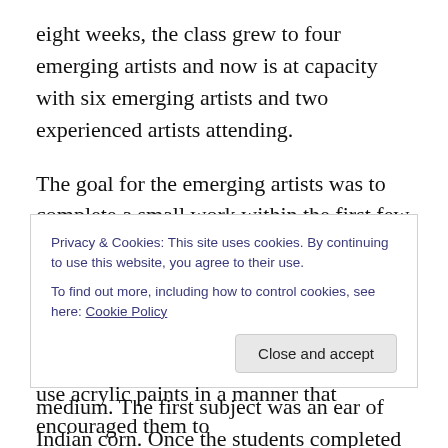eight weeks, the class grew to four emerging artists and now is at capacity with six emerging artists and two experienced artists attending.
The goal for the emerging artists was to complete a small work within the first few weeks. Their first assignment was to create a basic color chart to get used to the paint and brushes. This was followed by a paint-along, following my example and style of painting with this versatile medium. The first subject was an ear of Indian corn. Once the students completed the corn painting, they could bring in a
Privacy & Cookies: This site uses cookies. By continuing to use this website, you agree to their use. To find out more, including how to control cookies, see here: Cookie Policy
use acrylic paints in a manner that encouraged them to